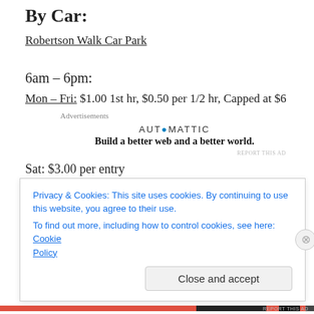By Car:
Robertson Walk Car Park
6am – 6pm:
Mon – Fri: $1.00 1st hr, $0.50 per 1/2 hr, Capped at $6
[Figure (other): Automattic advertisement: 'Build a better web and a better world.']
Sat: $3.00 per entry
Privacy & Cookies: This site uses cookies. By continuing to use this website, you agree to their use. To find out more, including how to control cookies, see here: Cookie Policy
Close and accept